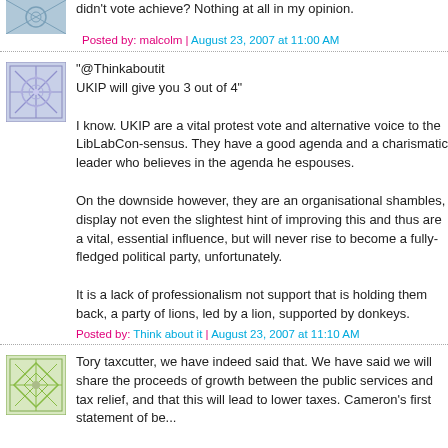didn't vote achieve? Nothing at all in my opinion.
Posted by: malcolm | August 23, 2007 at 11:00 AM
[Figure (illustration): Blue/purple geometric snowflake avatar icon]
"@Thinkaboutit
UKIP will give you 3 out of 4"

I know. UKIP are a vital protest vote and alternative voice to the LibLabCon-sensus. They have a good agenda and a charismatic leader who believes in the agenda he espouses.

On the downside however, they are an organisational shambles, display not even the slightest hint of improving this and thus are a vital, essential influence, but will never rise to become a fully-fledged political party, unfortunately.

It is a lack of professionalism not support that is holding them back, a party of lions, led by a lion, supported by donkeys.
Posted by: Think about it | August 23, 2007 at 11:10 AM
[Figure (illustration): Green geometric diamond pattern avatar icon]
Tory taxcutter, we have indeed said that. We have said we will share the proceeds of growth between the public services and tax relief, and that this will lead to lower taxes. Cameron's first statement of be...